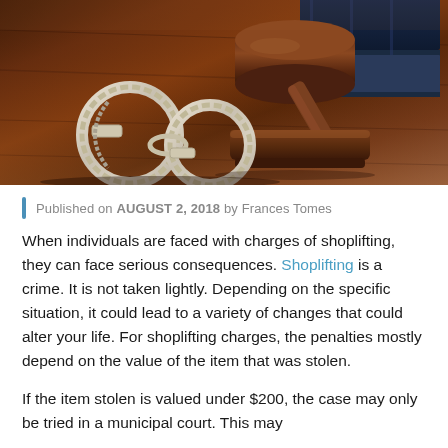[Figure (photo): Photo of a judge's gavel on a wooden surface with handcuffs and books in the background]
Published on AUGUST 2, 2018 by Frances Tomes
When individuals are faced with charges of shoplifting, they can face serious consequences. Shoplifting is a crime. It is not taken lightly. Depending on the specific situation, it could lead to a variety of changes that could alter your life. For shoplifting charges, the penalties mostly depend on the value of the item that was stolen.
If the item stolen is valued under $200, the case may only be tried in a municipal court. This may